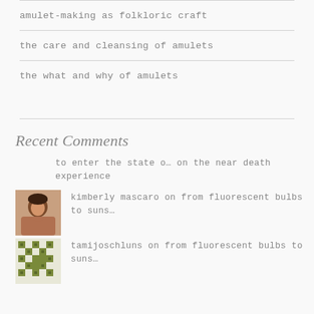amulet-making as folkloric craft
the care and cleansing of amulets
the what and why of amulets
Recent Comments
to enter the state o… on the near death experience
kimberly mascaro on from fluorescent bulbs to suns…
tamijoschluns on from fluorescent bulbs to suns…